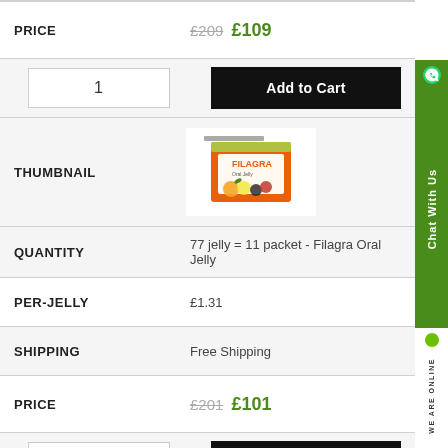| Field | Value |
| --- | --- |
| PRICE | £209 £109 |
| (qty input) | 1 | Add to Cart |
| THUMBNAIL | (product image: Filagra Oral Jelly) |
| QUANTITY | 77 jelly = 11 packet - Filagra Oral Jelly |
| PER-JELLY | £1.31 |
| SHIPPING | Free Shipping |
| PRICE | £201 £101 |
| (qty input) | 1 | Add to Cart |